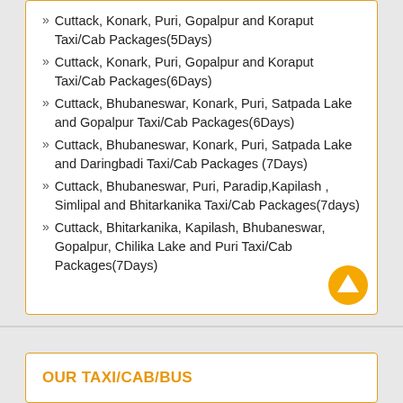Cuttack, Konark, Puri, Gopalpur and Koraput Taxi/Cab Packages(5Days)
Cuttack, Konark, Puri, Gopalpur and Koraput Taxi/Cab Packages(6Days)
Cuttack, Bhubaneswar, Konark, Puri, Satpada Lake and Gopalpur Taxi/Cab Packages(6Days)
Cuttack, Bhubaneswar, Konark, Puri, Satpada Lake and Daringbadi Taxi/Cab Packages (7Days)
Cuttack, Bhubaneswar, Puri, Paradip,Kapilash , Simlipal and Bhitarkanika Taxi/Cab Packages(7days)
Cuttack, Bhitarkanika, Kapilash, Bhubaneswar, Gopalpur, Chilika Lake and Puri Taxi/Cab Packages(7Days)
OUR TAXI/CAB/BUS